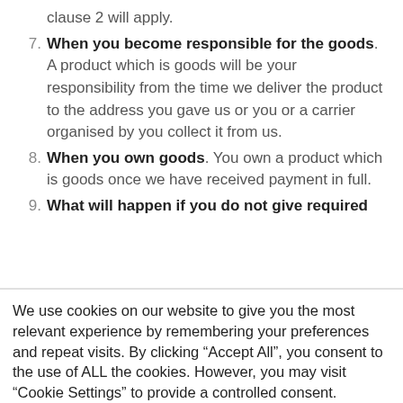clause 2 will apply.
7. When you become responsible for the goods. A product which is goods will be your responsibility from the time we deliver the product to the address you gave us or you or a carrier organised by you collect it from us.
8. When you own goods. You own a product which is goods once we have received payment in full.
9. What will happen if you do not give required
We use cookies on our website to give you the most relevant experience by remembering your preferences and repeat visits. By clicking “Accept All”, you consent to the use of ALL the cookies. However, you may visit “Cookie Settings” to provide a controlled consent.